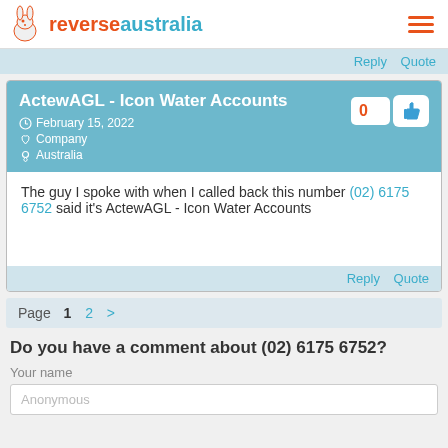reverseaustralia
Reply   Quote
ActewAGL - Icon Water Accounts
February 15, 2022
Company
Australia
The guy I spoke with when I called back this number (02) 6175 6752 said it's ActewAGL - Icon Water Accounts
Reply   Quote
Page  1  2  >
Do you have a comment about (02) 6175 6752?
Your name
Anonymous